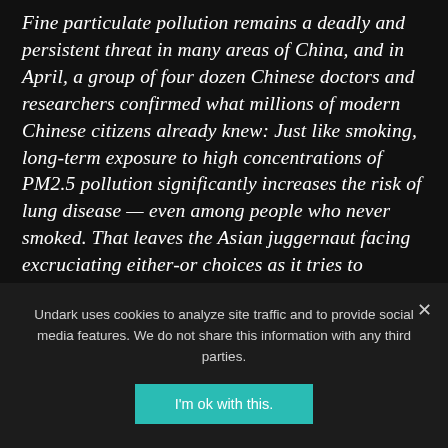Fine particulate pollution remains a deadly and persistent threat in many areas of China, and in April, a group of four dozen Chinese doctors and researchers confirmed what millions of modern Chinese citizens already knew: Just like smoking, long-term exposure to high concentrations of PM2.5 pollution significantly increases the risk of lung disease — even among people who never smoked. That leaves the Asian juggernaut facing excruciating either-or choices as it tries to balance economic growth with the need to clean up its spectacularly dirty air. China's leadership is now
Undark uses cookies to analyze site traffic and to provide social media features. We do not share this information with any third parties.
I'm ok with this.